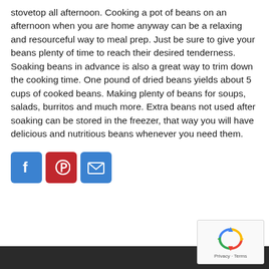stovetop all afternoon. Cooking a pot of beans on an afternoon when you are home anyway can be a relaxing and resourceful way to meal prep. Just be sure to give your beans plenty of time to reach their desired tenderness. Soaking beans in advance is also a great way to trim down the cooking time. One pound of dried beans yields about 5 cups of cooked beans. Making plenty of beans for soups, salads, burritos and much more. Extra beans not used after soaking can be stored in the freezer, that way you will have delicious and nutritious beans whenever you need them.
[Figure (other): Social sharing icons: Facebook (blue), Pinterest (red), Email (blue)]
[Figure (other): reCAPTCHA widget with spinning arrows logo and Privacy · Terms text]